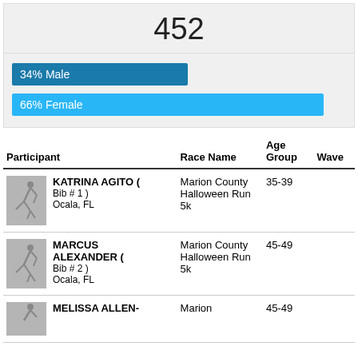452
[Figure (infographic): Gender breakdown bars: 34% Male (dark blue bar) and 66% Female (light blue bar)]
| Participant | Race Name | Age Group | Wave |
| --- | --- | --- | --- |
| KATRINA AGITO ( Bib # 1 ) Ocala, FL | Marion County Halloween Run 5k | 35-39 |  |
| MARCUS ALEXANDER ( Bib # 2 ) Ocala, FL | Marion County Halloween Run 5k | 45-49 |  |
| MELISSA ALLEN- | Marion | 45-49 |  |